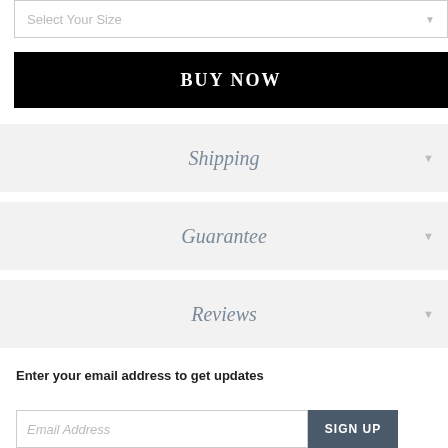Select Your Size
BUY NOW
Shipping
Guarantee
Reviews
Enter your email address to get updates
Email Address
SIGN UP